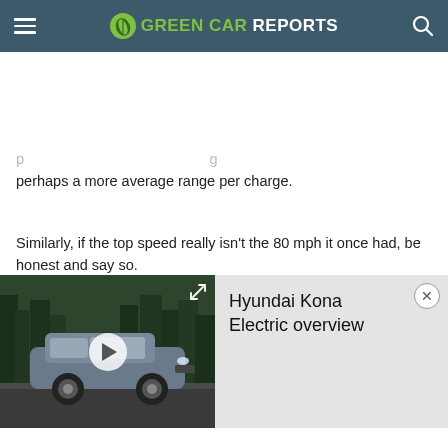GREEN CAR REPORTS
perhaps a more average range per charge.
Similarly, if the top speed really isn't the 80 mph it once had, be honest and say so.
[Figure (screenshot): Video overlay panel showing Hyundai Kona Electric with play button, expand icon, close button, and title 'Hyundai Kona Electric overview']